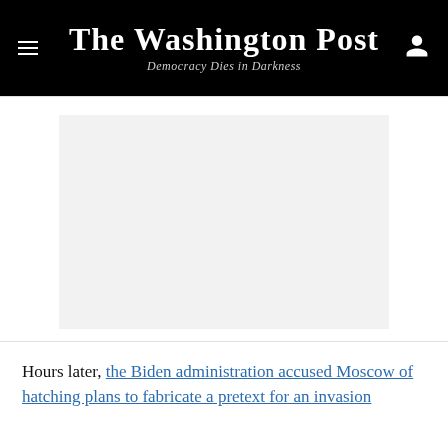The Washington Post — Democracy Dies in Darkness
[Figure (other): Advertisement placeholder — light grey rectangle]
Hours later, the Biden administration accused Moscow of hatching plans to fabricate a pretext for an invasion